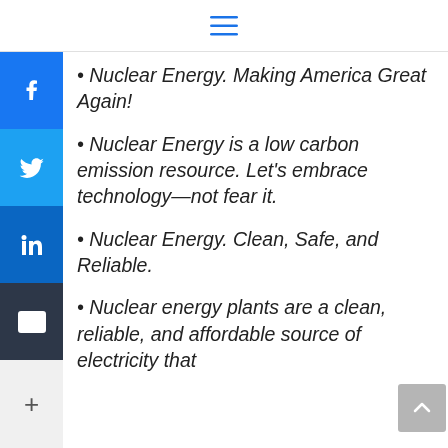≡
Nuclear Energy. Making America Great Again!
Nuclear Energy is a low carbon emission resource. Let's embrace technology—not fear it.
Nuclear Energy. Clean, Safe, and Reliable.
Nuclear energy plants are a clean, reliable, and affordable source of electricity that…